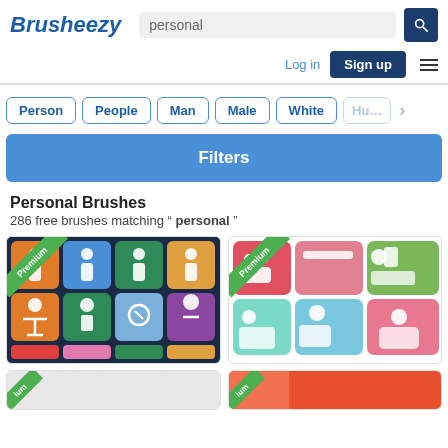Brusheezy
personal
Person
People
Man
Male
White
Hu…
Filters
Personal Brushes
286 free brushes matching " personal "
[Figure (screenshot): Premium icon set showing colorful personal/people icons on dark navy background with a green Premium badge in top-left corner]
[Figure (screenshot): Premium icon set showing colorful personal/business flat icons with pink, teal, and green backgrounds, green Premium badge in top-left corner]
[Figure (screenshot): Partial view of another premium result at bottom-left]
[Figure (screenshot): Partial view of another premium result at bottom-right with red and orange color]